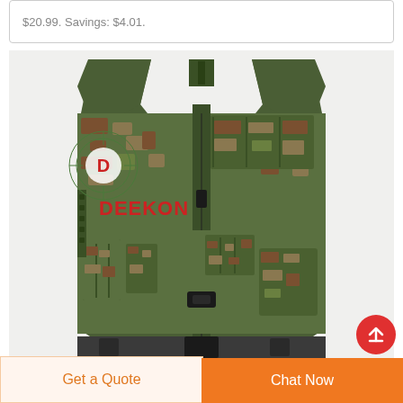$20.99. Savings: $4.01.
[Figure (photo): Camouflage tactical military vest with MOLLE webbing, multiple magazine pouches, and DEEKON brand logo overlay. The vest is shown in Italian vegetato camouflage pattern (green/brown/tan digital camo) with black plastic buckles and zippers.]
Get a Quote
Chat Now